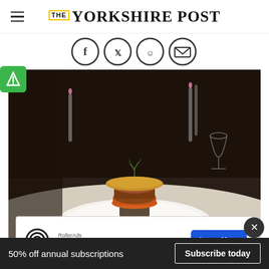THE YORKSHIRE POST
[Figure (other): Social media sharing icons (Facebook, Twitter, Reddit, email) in circular outlined buttons]
[Figure (photo): A plated fine-dining dish — a stack of food with a crispy cracker on top garnished with a green herb sprig, served on a white plate at The Cleveland Tontine Restaurant near Northallerton. Dark restaurant interior with candles and wine glasses in the background.]
[Figure (other): RollerAds advertisement banner: 'RollerAds - Global Ad Reach' with a 'Learn More' button]
The Cleveland Tontine Restaurant near Northallerton.
50% off annual subscriptions
Subscribe today